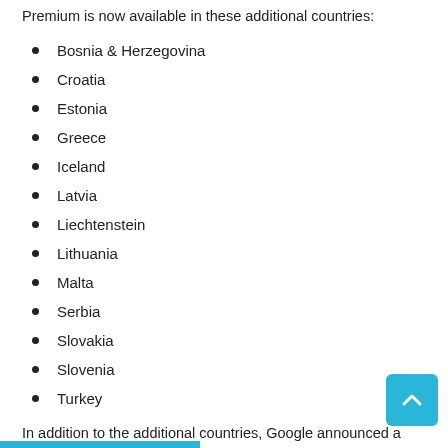Premium is now available in these additional countries:
Bosnia & Herzegovina
Croatia
Estonia
Greece
Iceland
Latvia
Liechtenstein
Lithuania
Malta
Serbia
Slovakia
Slovenia
Turkey
In addition to the additional countries, Google announced a new feature for the YouTube Music app. Now listeners can switch